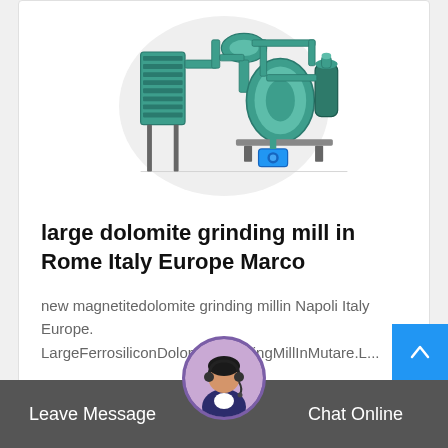[Figure (photo): Industrial grinding mill machinery with teal/green colored pipes and components, shown against a light circular background]
large dolomite grinding mill in Rome Italy Europe Marco
new magnetitedolomite grinding millin Napoli Italy Europe. LargeFerrosiliconDolomiteGrindingMillInMutare.L...
Read More →
Leave Message  Chat Online